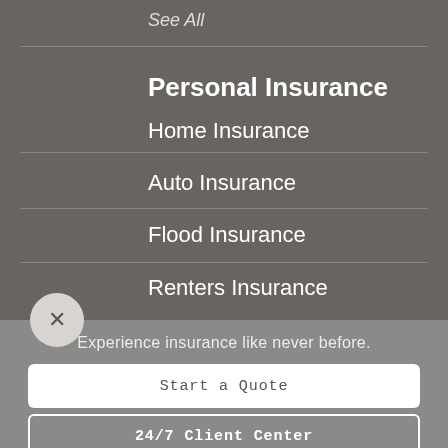See All
Personal Insurance
Home Insurance
Auto Insurance
Flood Insurance
Renters Insurance
Experience insurance like never before.
Start a Quote
24/7 Client Center